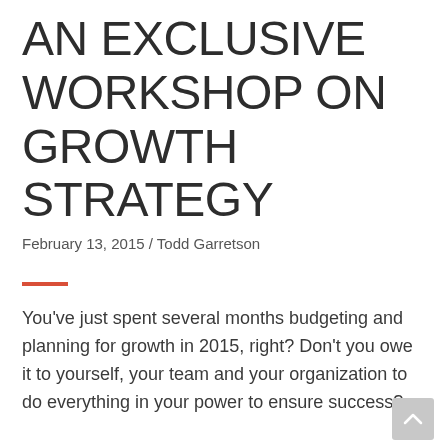AN EXCLUSIVE WORKSHOP ON GROWTH STRATEGY
February 13, 2015 / Todd Garretson
You've just spent several months budgeting and planning for growth in 2015, right?  Don't you owe it to yourself, your team and your organization to do everything in your power to ensure success?